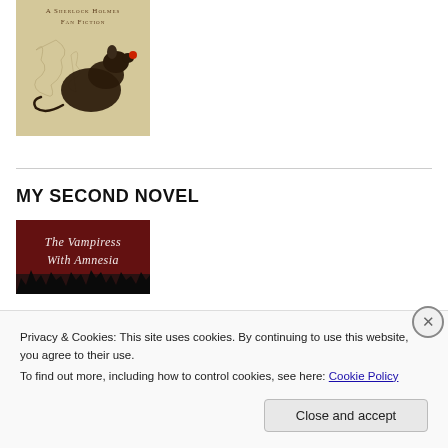[Figure (illustration): Book cover for a Sherlock Holmes fan fiction featuring a silhouette of a rat against a map background, with text 'A Sherlock Holmes Fan Fiction' at the top in small caps lettering.]
MY SECOND NOVEL
[Figure (illustration): Book cover for 'The Vampiress With Amnesia' showing gothic red and dark imagery with ornate white text.]
Privacy & Cookies: This site uses cookies. By continuing to use this website, you agree to their use.
To find out more, including how to control cookies, see here: Cookie Policy